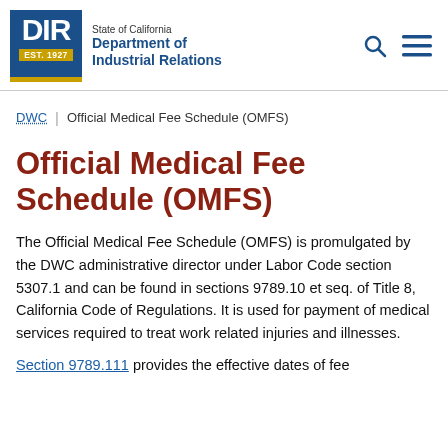[Figure (logo): California Department of Industrial Relations (DIR) logo with EST. 1927 badge and agency name]
State of California Department of Industrial Relations
DWC | Official Medical Fee Schedule (OMFS)
Official Medical Fee Schedule (OMFS)
The Official Medical Fee Schedule (OMFS) is promulgated by the DWC administrative director under Labor Code section 5307.1 and can be found in sections 9789.10 et seq. of Title 8, California Code of Regulations. It is used for payment of medical services required to treat work related injuries and illnesses.
Section 9789.111 provides the effective dates of fee